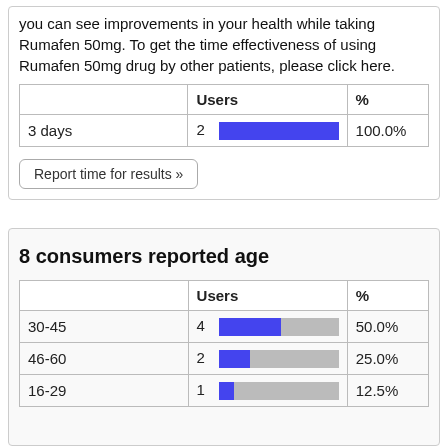you can see improvements in your health while taking Rumafen 50mg. To get the time effectiveness of using Rumafen 50mg drug by other patients, please click here.
|  | Users | % |
| --- | --- | --- |
| 3 days | 2 | 100.0% |
Report time for results »
8 consumers reported age
|  | Users | % |
| --- | --- | --- |
| 30-45 | 4 | 50.0% |
| 46-60 | 2 | 25.0% |
| 16-29 | 1 | 12.5% |